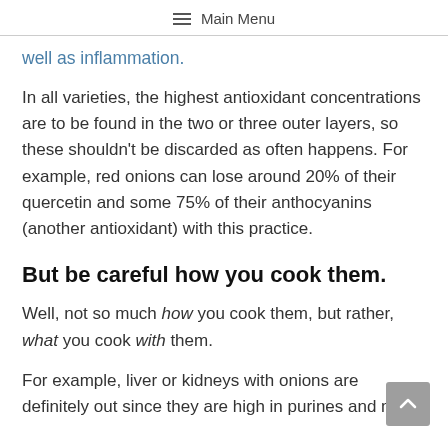≡ Main Menu
well as inflammation.
In all varieties, the highest antioxidant concentrations are to be found in the two or three outer layers, so these shouldn't be discarded as often happens. For example, red onions can lose around 20% of their quercetin and some 75% of their anthocyanins (another antioxidant) with this practice.
But be careful how you cook them.
Well, not so much how you cook them, but rather, what you cook with them.
For example, liver or kidneys with onions are definitely out since they are high in purines and must